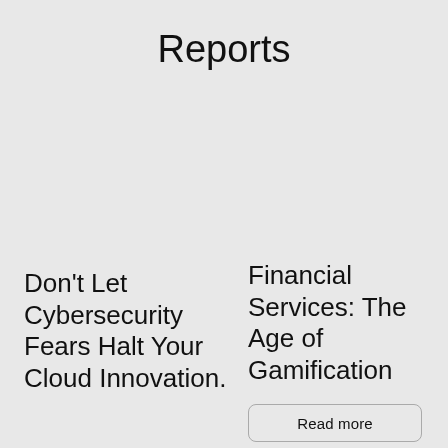Reports
Don't Let Cybersecurity Fears Halt Your Cloud Innovation.
Financial Services: The Age of Gamification
Read more